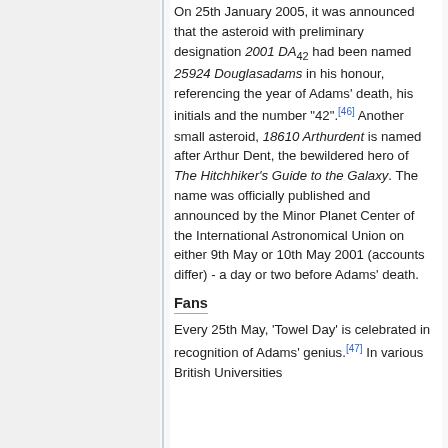On 25th January 2005, it was announced that the asteroid with preliminary designation 2001 DA42 had been named 25924 Douglasadams in his honour, referencing the year of Adams' death, his initials and the number "42".[46] Another small asteroid, 18610 Arthurdent is named after Arthur Dent, the bewildered hero of The Hitchhiker's Guide to the Galaxy. The name was officially published and announced by the Minor Planet Center of the International Astronomical Union on either 9th May or 10th May 2001 (accounts differ) - a day or two before Adams' death.
Fans
Every 25th May, 'Towel Day' is celebrated in recognition of Adams' genius.[47] In various British Universities